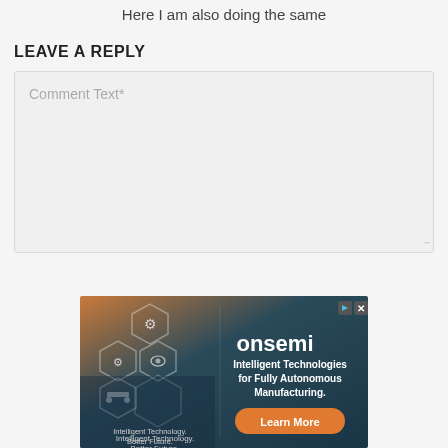Here I am also doing the same
LEAVE A REPLY
Comment Text*
[Figure (other): onsemi advertisement banner: hexagonal technology icons on orange/teal gradient background, onsemi logo, tagline 'Intelligent Technology. Better Future.', text 'Intelligent Technologies for Fully Autonomous Manufacturing.', orange 'Learn More' button, play and close icon buttons at top right.]